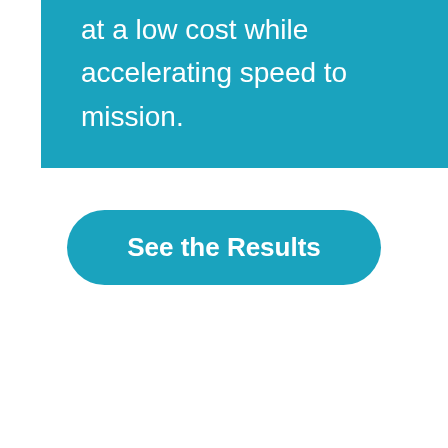at a low cost while accelerating speed to mission.
See the Results